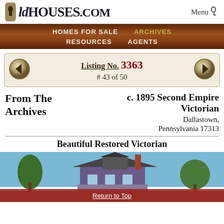OldHouses.com — Menu
[Figure (screenshot): OldHouses.com website navigation bar with wood-textured background showing: HOMES FOR SALE, ARCHIVES, RESOURCES, AGENTS]
Listing No. 3363
# 43 of 50
From The Archives
c. 1895 Second Empire Victorian
Dallastown, Pennsylvania 17313
Beautiful Restored Victorian
[Figure (photo): Photograph of a Victorian house (Second Empire style) in Dallastown, Pennsylvania]
Return to Top